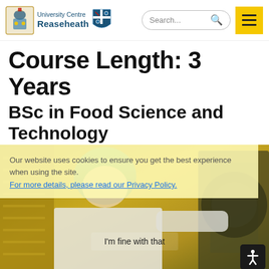University Centre Reaseheath — Search navigation header
Course Length: 3 Years
BSc in Food Science and Technology
[Figure (photo): A person wearing a green hairnet and white lab coat working with food processing equipment in a food science laboratory. The image has a yellow tint overlay.]
Our website uses cookies to ensure you get the best experience when using the site. For more details, please read our Privacy Policy.
I'm fine with that